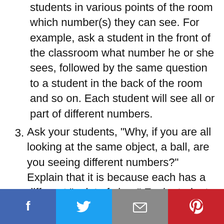students in various points of the room which number(s) they can see. For example, ask a student in the front of the classroom what number he or she sees, followed by the same question to a student in the back of the room and so on. Each student will see all or part of different numbers.
3. Ask your students, "Why, if you are all looking at the same object, a ball, are you seeing different numbers?" Explain that it is because each has a different “point of view.” Each student sees different numbers from their point of view. They may see an entire number or part of a number. There will be some
[Figure (infographic): Social media share bar with Facebook (blue), Twitter (light blue), Email (grey), and Pinterest (red) buttons.]